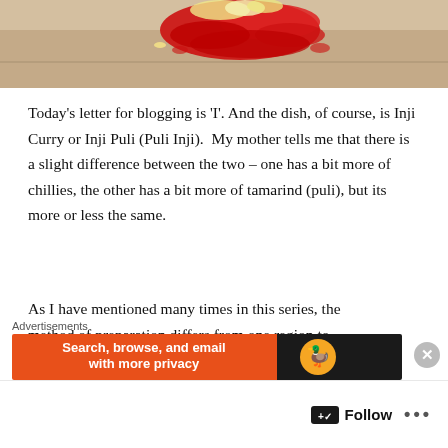[Figure (photo): Photo of flower petals (red and white/yellow) arranged on a beige/tan surface, partially cropped at top of page]
Today's letter for blogging is 'I'. And the dish, of course, is Inji Curry or Inji Puli (Puli Inji).  My mother tells me that there is a slight difference between the two – one has a bit more of chillies, the other has a bit more of tamarind (puli), but its more or less the same.
As I have mentioned many times in this series, the method of preparation differs from one region to
Advertisements
[Figure (screenshot): Advertisement banner: DuckDuckGo ad with text 'Search, browse, and email with more privacy']